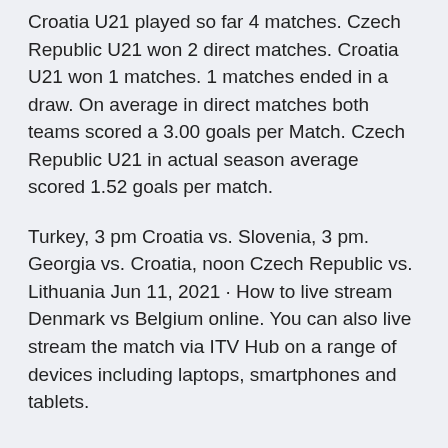Croatia U21 played so far 4 matches. Czech Republic U21 won 2 direct matches. Croatia U21 won 1 matches. 1 matches ended in a draw. On average in direct matches both teams scored a 3.00 goals per Match. Czech Republic U21 in actual season average scored 1.52 goals per match.
Turkey, 3 pm Croatia vs. Slovenia, 3 pm. Georgia vs. Croatia, noon Czech Republic vs. Lithuania Jun 11, 2021 · How to live stream Denmark vs Belgium online. You can also live stream the match via ITV Hub on a range of devices including laptops, smartphones and tablets.